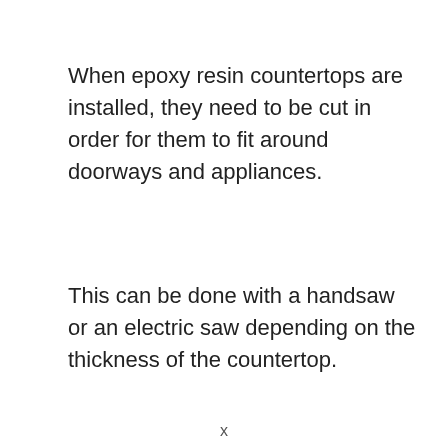When epoxy resin countertops are installed, they need to be cut in order for them to fit around doorways and appliances.
This can be done with a handsaw or an electric saw depending on the thickness of the countertop.
x